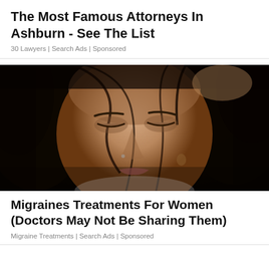The Most Famous Attorneys In Ashburn - See The List
30 Lawyers | Search Ads | Sponsored
[Figure (photo): Close-up photo of a woman with dark wet hair, eyes closed or downcast, hand in hair, appearing to be in pain from a migraine headache]
Migraines Treatments For Women (Doctors May Not Be Sharing Them)
Migraine Treatments | Search Ads | Sponsored